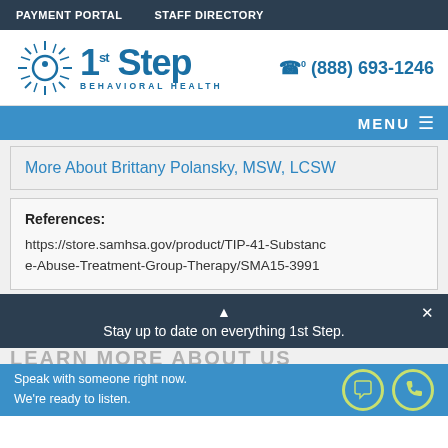PAYMENT PORTAL   STAFF DIRECTORY
[Figure (logo): 1st Step Behavioral Health logo with sunburst icon, phone number (888) 693-1246]
MENU
More About Brittany Polansky, MSW, LCSW
References:
https://store.samhsa.gov/product/TIP-41-Substance-Abuse-Treatment-Group-Therapy/SMA15-3991
Stay up to date on everything 1st Step.
Speak with someone right now. We're ready to listen.